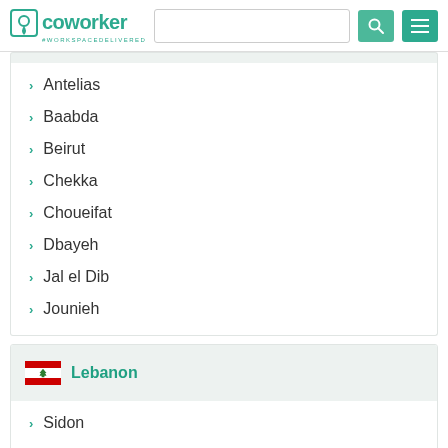Coworker — #workspacedelivered
Antelias
Baabda
Beirut
Chekka
Choueifat
Dbayeh
Jal el Dib
Jounieh
Lebanon
Sidon
Tripoli